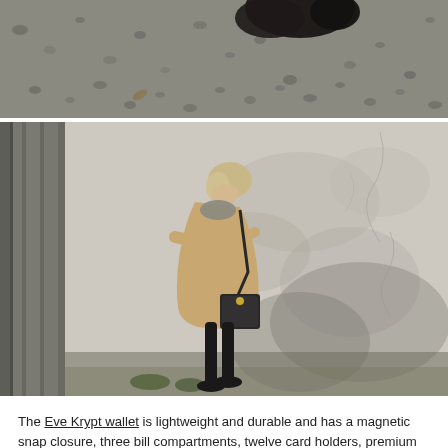[Figure (photo): Top portion of photo showing gravel ground with a dark shoe/boot visible]
[Figure (photo): Woman in a beige/camel coat walking in front of a weathered white wall, carrying a dark crossbody bag, with architectural columns visible on the left]
The Eve Krypt wallet is lightweight and durable and has a magnetic snap closure, three bill compartments, twelve card holders, premium natural cork and a full zip coin compartment. I love it!
[Figure (photo): Bottom portion of a photo, appears to show fur or an animal]